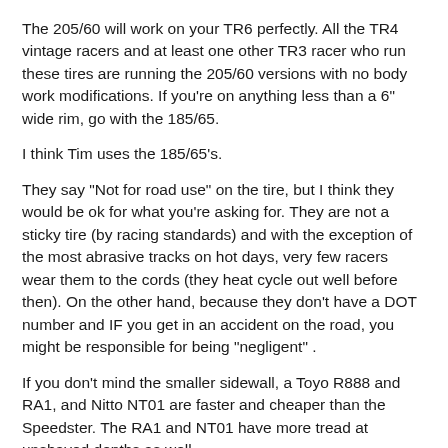The 205/60 will work on your TR6 perfectly. All the TR4 vintage racers and at least one other TR3 racer who run these tires are running the 205/60 versions with no body work modifications. If you're on anything less than a 6" wide rim, go with the 185/65.
I think Tim uses the 185/65's.
They say "Not for road use" on the tire, but I think they would be ok for what you're asking for. They are not a sticky tire (by racing standards) and with the exception of the most abrasive tracks on hot days, very few racers wear them to the cords (they heat cycle out well before then). On the other hand, because they don't have a DOT number and IF you get in an accident on the road, you might be responsible for being "negligent" .
If you don't mind the smaller sidewall, a Toyo R888 and RA1, and Nitto NT01 are faster and cheaper than the Speedster. The RA1 and NT01 have more tread at unshaved depths as well.